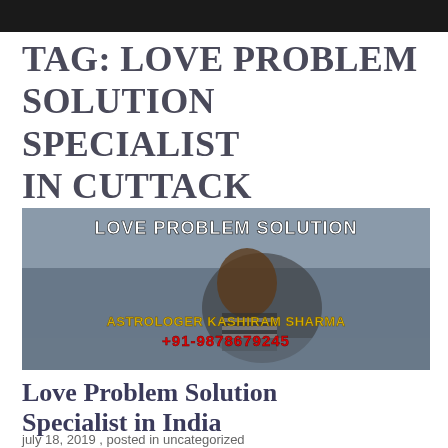TAG: LOVE PROBLEM SOLUTION SPECIALIST IN CUTTACK
[Figure (photo): Banner image for Love Problem Solution with a couple hugging in the background. Text overlay reads 'LOVE PROBLEM SOLUTION' at the top in bold white letters, 'ASTROLOGER KASHIRAM SHARMA' in yellow bold text, and '+91-9878679245' in red bold text below.]
Love Problem Solution Specialist in India
july 18, 2019 , posted in uncategorized